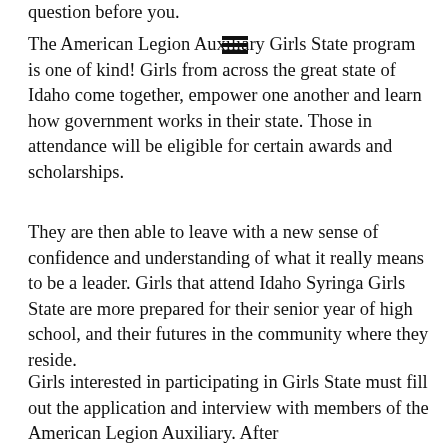question before you.
[Figure (other): A small hamburger menu icon (three horizontal bars) appearing inline near the word 'Auxiliary']
The American Legion Auxiliary Girls State program is one of kind! Girls from across the great state of Idaho come together, empower one another and learn how government works in their state. Those in attendance will be eligible for certain awards and scholarships.
They are then able to leave with a new sense of confidence and understanding of what it really means to be a leader. Girls that attend Idaho Syringa Girls State are more prepared for their senior year of high school, and their futures in the community where they reside.
Girls interested in participating in Girls State must fill out the application and interview with members of the American Legion Auxiliary. After